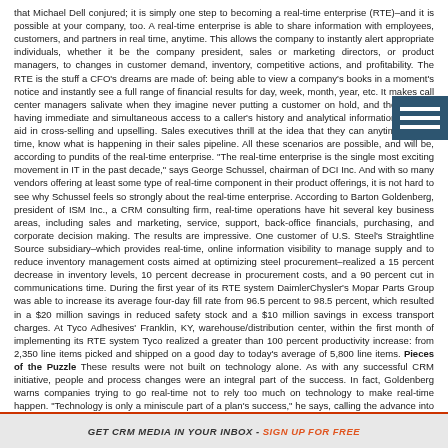that Michael Dell conjured; it is simply one step to becoming a real-time enterprise (RTE)–and it is possible at your company, too. A real-time enterprise is able to share information with employees, customers, and partners in real time, anytime. This allows the company to instantly alert appropriate individuals, whether it be the company president, sales or marketing directors, or product managers, to changes in customer demand, inventory, competitive actions, and profitability. The RTE is the stuff a CFO's dreams are made of: being able to view a company's books in a moment's notice and instantly see a full range of financial results for day, week, month, year, etc. It makes call center managers salivate when they imagine never putting a customer on hold, and their agents having immediate and simultaneous access to a caller's history and analytical information that can aid in cross-selling and upselling. Sales executives thrill at the idea that they can anytime, in real time, know what is happening in their sales pipeline. All these scenarios are possible, and will be, according to pundits of the real-time enterprise. "The real-time enterprise is the single most exciting movement in IT in the past decade," says George Schussel, chairman of DCI Inc. And with so many vendors offering at least some type of real-time component in their product offerings, it is not hard to see why Schussel feels so strongly about the real-time enterprise. According to Barton Goldenberg, president of ISM Inc., a CRM consulting firm, real-time operations have hit several key business areas, including sales and marketing, service, support, back-office financials, purchasing, and corporate decision making. The results are impressive. One customer of U.S. Steel's Straightline Source subsidiary–which provides real-time, online information visibility to manage supply and to reduce inventory management costs aimed at optimizing steel procurement–realized a 15 percent decrease in inventory levels, 10 percent decrease in procurement costs, and a 90 percent cut in communications time. During the first year of its RTE system DaimlerChysler's Mopar Parts Group was able to increase its average four-day fill rate from 96.5 percent to 98.5 percent, which resulted in a $20 million savings in reduced safety stock and a $10 million savings in excess transport charges. At Tyco Adhesives' Franklin, KY, warehouse/distribution center, within the first month of implementing its RTE system Tyco realized a greater than 100 percent productivity increase: from 2,350 line items picked and shipped on a good day to today's average of 5,800 line items. Pieces of the Puzzle These results were not built on technology alone. As with any successful CRM initiative, people and process changes were an integral part of the success. In fact, Goldenberg warns companies trying to go real-time not to rely too much on technology to make real-time happen. "Technology is only a miniscule part of a plan's success," he says, calling the advance into real-time a process, not an event. "Right now, there are so many different parts of an enterprise that can be brought up to real-time speed," Goldenberg says. "And no single vendor can perform all of these tasks." A pundit of the real-time enterprise for years, Goldenberg insists that companies take a long, hard look at their business and decide what they want to achieve with
GET CRM MEDIA IN YOUR INBOX - SIGN UP FOR FREE